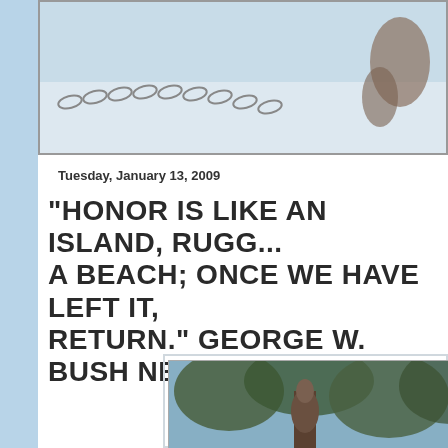[Figure (photo): Top photo showing a winter scene with a chain and animal in snow, partially visible, cropped]
Tuesday, January 13, 2009
"HONOR IS LIKE AN ISLAND, RUGG... A BEACH; ONCE WE HAVE LEFT IT, ... RETURN." GEORGE W. BUSH NEVE...
[Figure (photo): Photo of an animal hanging upside down from a tree with foliage and blue sky in background]